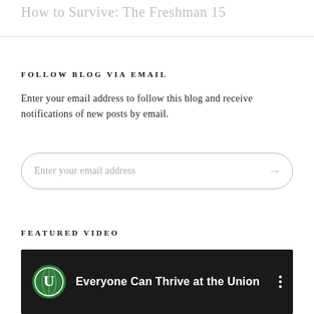How to Survive: The Freshman 15
FOLLOW BLOG VIA EMAIL
Enter your email address to follow this blog and receive notifications of new posts by email.
Enter your email address
FEATURED VIDEO
[Figure (screenshot): Video thumbnail showing 'Everyone Can Thrive at the Union' with a green circular university logo on a dark background]